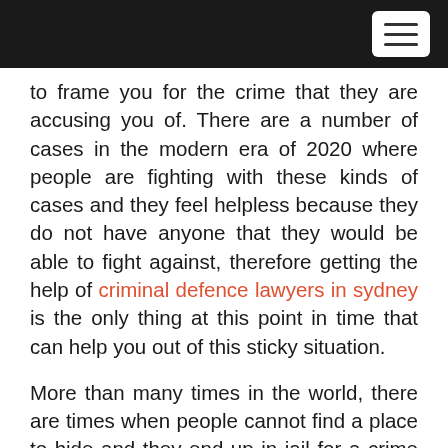[navigation bar with hamburger menu]
to frame you for the crime that they are accusing you of. There are a number of cases in the modern era of 2020 where people are fighting with these kinds of cases and they feel helpless because they do not have anyone that they would be able to fight against, therefore getting the help of criminal defence lawyers in sydney is the only thing at this point in time that can help you out of this sticky situation.
More than many times in the world, there are times when people cannot find a place to hide and they end up in jail for a crime that they did not commit but could not come